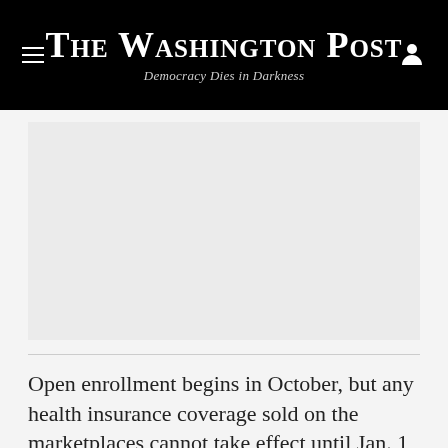The Washington Post
Democracy Dies in Darkness
[Figure (photo): Gray placeholder image area below the Washington Post header]
Open enrollment begins in October, but any health insurance coverage sold on the marketplaces cannot take effect until Jan. 1, 2014. So, on the exchanges, there's no difference in when you begin to receive